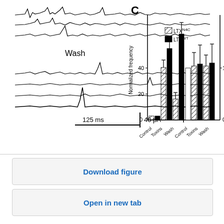[Figure (other): Electrophysiology trace panel (left) showing waveforms labeled 'Wash' with scale bars 125 ms and 40 pA; Grouped bar chart (right, panel C) with two groups: Normalized frequency (left y-axis, 0-40+) and Normalized amplitude (right y-axis, 0-1), x-axis categories Control, Toxins, Wash for each group. Legend shows hatched bars for LTX^N4C and solid black bars for LTX^WT.]
Download figure
Open in new tab
SfN uses cookies to provide you with a secure and custom website experience. Please read our privacy policy for more details. Learn more
I Accept